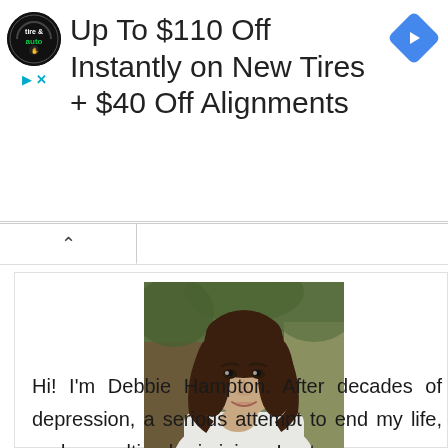[Figure (infographic): Advertisement banner for tire and auto service: logo circle with 'tire & auto' text, ad text 'Up To $110 Off Instantly on New Tires + $40 Off Alignments', blue diamond navigation icon, play and close controls.]
[Figure (photo): Portrait photo of a woman with dark brown hair, smiling, chin resting on hand, outdoors with blurred tree background.]
Hi! I'm Debbie Hampton. After decades of depression, a serious attempt to end my life, and a resulting brain injury, I not